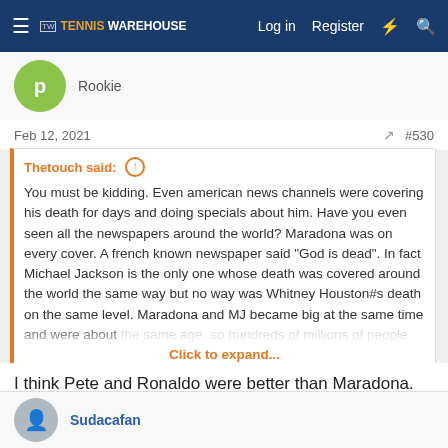Tennis Warehouse — Log in | Register
Rookie
Feb 12, 2021  #530
Thetouch said: ↑ You must be kidding. Even american news channels were covering his death for days and doing specials about him. Have you even seen all the newspapers around the world? Maradona was on every cover. A french known newspaper said "God is dead". In fact Michael Jackson is the only one whose death was covered around the world the same way but no way was Whitney Houston#s death on the same level. Maradona and MJ became big at the same time and were about the same age, so hundreds of millions of people followed their ... Click to expand...
I think Pete and Ronaldo were better than Maradona. Pele used to get the crap beat out of him and still was the greatest. Also Ali could go anywhere in the world and people would flock to him.
Sudacafan